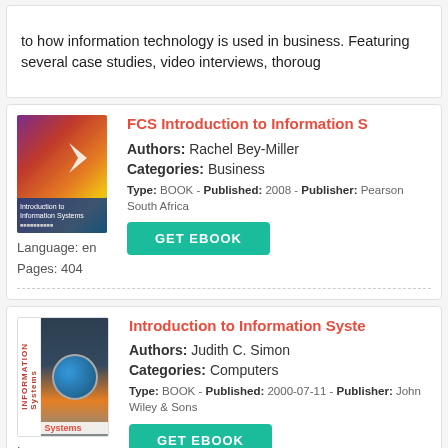to how information technology is used in business. Featuring several case studies, video interviews, thoroug
FCS Introduction to Information S
Authors: Rachel Bey-Miller
Categories: Business
Type: BOOK - Published: 2008 - Publisher: Pearson South Africa
Language: en
Pages: 404
Introduction to Information Syste
Authors: Judith C. Simon
Categories: Computers
Type: BOOK - Published: 2000-07-11 - Publisher: John Wiley & Sons
Language: en
Pages: 352